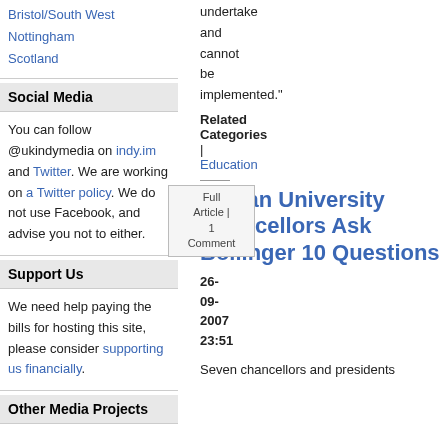Bristol/South West
Nottingham
Scotland
Social Media
You can follow @ukindymedia on indy.im and Twitter. We are working on a Twitter policy. We do not use Facebook, and advise you not to either.
Support Us
We need help paying the bills for hosting this site, please consider supporting us financially.
Other Media Projects
undertake and cannot be implemented."
Related Categories
| Education
Iranian University Chancellors Ask Bollinger 10 Questions
26-09-2007 23:51
Seven chancellors and presidents